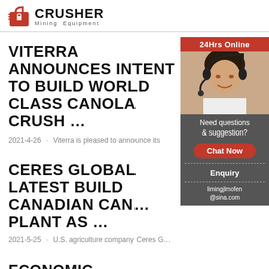[Figure (logo): Crusher Mining Equipment logo with red shopping bag icon and bold text]
VITERRA ANNOUNCES INTENT TO BUILD WORLD CLASS CANOLA CRUSH …
2021-4-26 · Viterra is pleased to announce its
CERES GLOBAL LATEST BUILD CANADIAN CAN… PLANT AS …
2021-5-25 · U.S. agriculture company Ceres G…
ECONOMIC DEVELOPMENT OPPORTUNITY CANOL…
[Figure (infographic): Sidebar widget: 24Hrs Online banner, customer service agent photo, Need questions & suggestion? text, Chat Now button, Enquiry link, limingjlmofen@sina.com email]